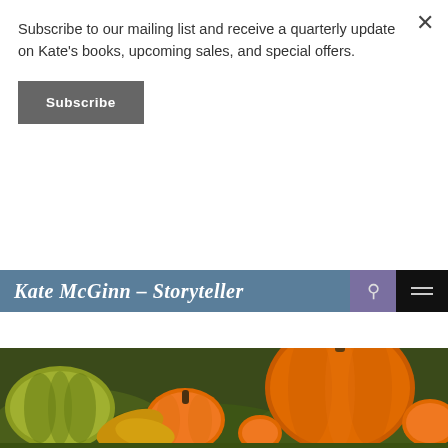Subscribe to our mailing list and receive a quarterly update on Kate's books, upcoming sales, and special offers.
Subscribe
Kate McGinn – Storyteller
Tag Archives: Pumpkins
[Figure (photo): Close-up photo of various pumpkins and gourds in orange and yellow-green colors on grass]